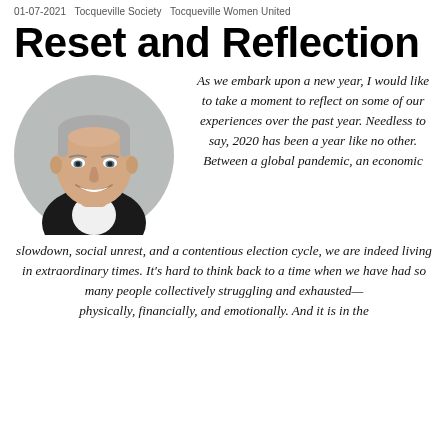01-07-2021   Tocqueville Society   Tocqueville Women United
Reset and Reflection
[Figure (photo): Circular headshot portrait of a middle-aged man with short gray hair, wearing a dark jacket, smiling against a light gray background]
As we embark upon a new year, I would like to take a moment to reflect on some of our experiences over the past year. Needless to say, 2020 has been a year like no other. Between a global pandemic, an economic slowdown, social unrest, and a contentious election cycle, we are indeed living in extraordinary times. It’s hard to think back to a time when we have had so many people collectively struggling and exhausted—physically, financially, and emotionally. And it is in the